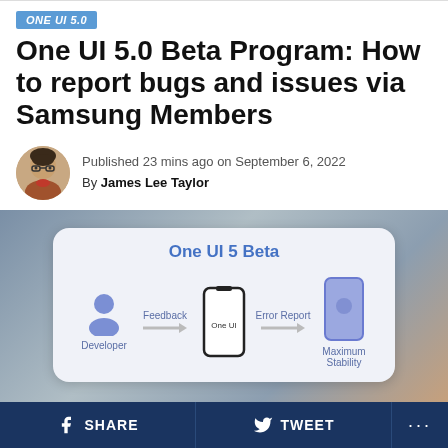ONE UI 5.0
One UI 5.0 Beta Program: How to report bugs and issues via Samsung Members
Published 23 mins ago on September 6, 2022
By James Lee Taylor
[Figure (infographic): One UI 5 Beta diagram showing Developer icon sending Feedback arrow to One UI phone, which sends Error Report arrow to a phone with Maximum Stability label]
SHARE  TWEET  ...